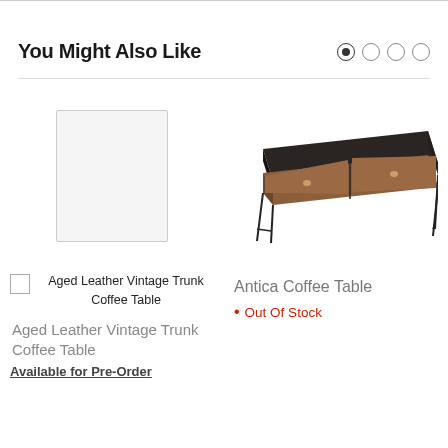You Might Also Like
[Figure (photo): Photo placeholder for Aged Leather Vintage Trunk Coffee Table — empty bordered square]
Aged Leather Vintage Trunk Coffee Table (label with checkbox)
Aged Leather Vintage Trunk Coffee Table
Available for Pre-Order
[Figure (photo): Photo of Antica Coffee Table — a dark-framed rectangular coffee table with two carved wood drawer fronts and hairpin legs]
Antica Coffee Table
• Out Of Stock